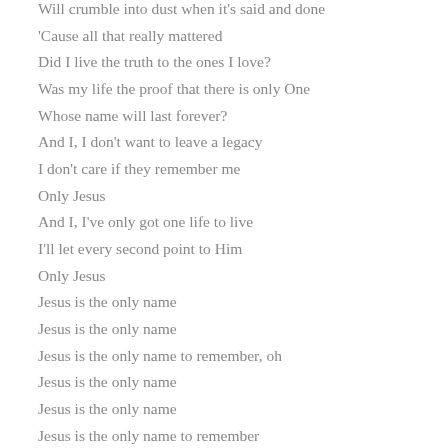Will crumble into dust when it's said and done
'Cause all that really mattered
Did I live the truth to the ones I love?
Was my life the proof that there is only One
Whose name will last forever?
And I, I don't want to leave a legacy
I don't care if they remember me
Only Jesus
And I, I've only got one life to live
I'll let every second point to Him
Only Jesus
Jesus is the only name
Jesus is the only name
Jesus is the only name to remember, oh
Jesus is the only name
Jesus is the only name
Jesus is the only name to remember
And I, I've only got one more